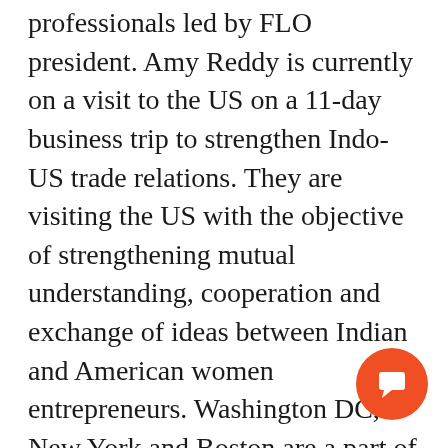professionals led by FLO president. Amy Reddy is currently on a visit to the US on a 11-day business trip to strengthen Indo-US trade relations. They are visiting the US with the objective of strengthening mutual understanding, cooperation and exchange of ideas between Indian and American women entrepreneurs. Washington DC, New York and Boston are a part of the 11-day itinerary for the delegation.
“During the first couple of days, FLO organised a round table discussion and FLO signed an MoU with US India Business Council (USIBC), the business advocacy group of America, to find new business